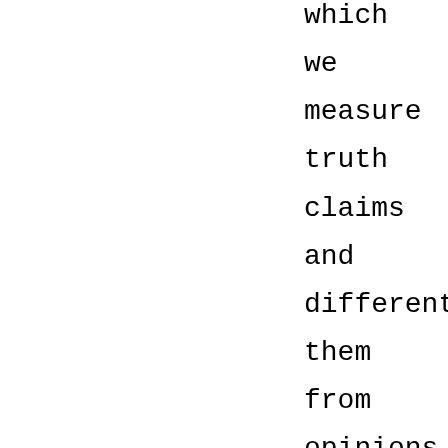which we measure truth claims and differentiate them from opinions (no matter how useful such opinions might be), because such universals are